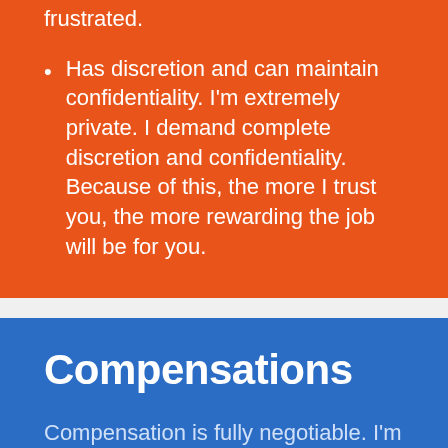frustrated.
Has discretion and can maintain confidentiality. I'm extremely private. I demand complete discretion and confidentiality. Because of this, the more I trust you, the more rewarding the job will be for you.
Compensations
Compensation is fully negotiable.  I'm willing to pay for the right person.  I wouldn't expect to find anyone for less than $30,000/year.  So, that's the starting point but I'm willing to pay more if you